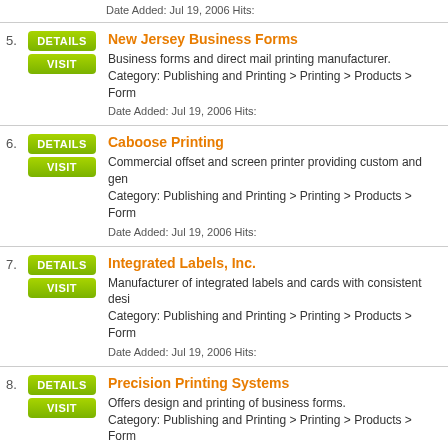Date Added: Jul 19, 2006 Hits:
5. New Jersey Business Forms — Business forms and direct mail printing manufacturer. Category: Publishing and Printing > Printing > Products > Form. Date Added: Jul 19, 2006 Hits:
6. Caboose Printing — Commercial offset and screen printer providing custom and gen. Category: Publishing and Printing > Printing > Products > Form. Date Added: Jul 19, 2006 Hits:
7. Integrated Labels, Inc. — Manufacturer of integrated labels and cards with consistent desi. Category: Publishing and Printing > Printing > Products > Form. Date Added: Jul 19, 2006 Hits:
8. Precision Printing Systems — Offers design and printing of business forms. Category: Publishing and Printing > Printing > Products > Form. Date Added: Jul 19, 2006 Hits: